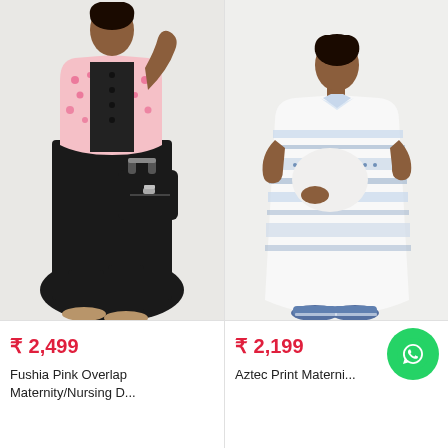[Figure (photo): Woman wearing a black maternity/nursing dress with fushia pink block print overlay/jacket, holding a black handbag, wearing silver sandals. Light gray background.]
₹ 2,499
Fushia Pink Overlap Maternity/Nursing D...
[Figure (photo): Pregnant woman wearing a white Aztec print maternity dress with blue/white stripes and embroidery, wearing blue sneakers. Light background.]
₹ 2,199
Aztec Print Materni...
[Figure (illustration): WhatsApp floating action button (green circle with white phone/chat icon)]